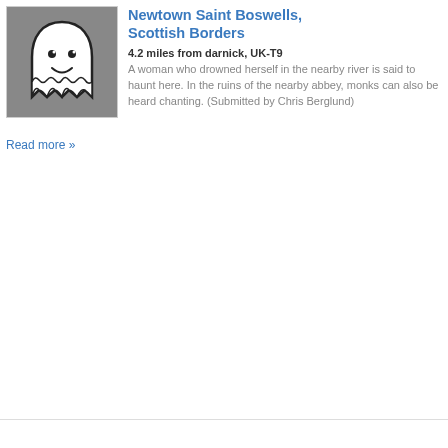[Figure (illustration): Cartoon ghost icon on grey background — smiling white ghost with black outline]
Newtown Saint Boswells, Scottish Borders
4.2 miles from darnick, UK-T9
A woman who drowned herself in the nearby river is said to haunt here. In the ruins of the nearby abbey, monks can also be heard chanting. (Submitted by Chris Berglund)
Read more »